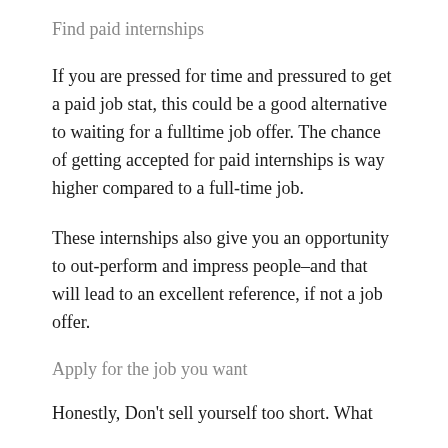Find paid internships
If you are pressed for time and pressured to get a paid job stat, this could be a good alternative to waiting for a fulltime job offer. The chance of getting accepted for paid internships is way higher compared to a full-time job.
These internships also give you an opportunity to out-perform and impress people–and that will lead to an excellent reference, if not a job offer.
Apply for the job you want
Honestly, Don't sell yourself too short. What